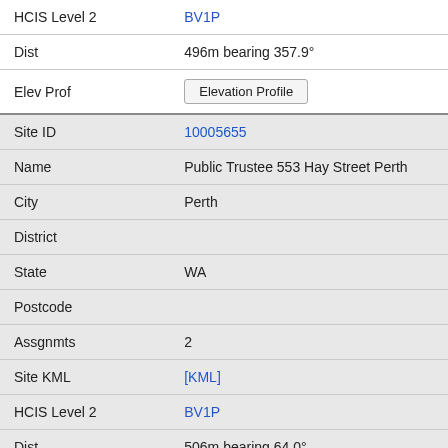| Field | Value |
| --- | --- |
| HCIS Level 2 | BV1P |
| Dist | 496m bearing 357.9° |
| Elev Prof | Elevation Profile |
| Site ID | 10005655 |
| Name | Public Trustee 553 Hay Street Perth |
| City | Perth |
| District |  |
| State | WA |
| Postcode |  |
| Assgnmts | 2 |
| Site KML | [KML] |
| HCIS Level 2 | BV1P |
| Dist | 506m bearing 64.0° |
| Elev Prof | Elevation Profile |
| Site ID | 9020257 |
| Name | Apple Store 790 Hay Street PERTH |